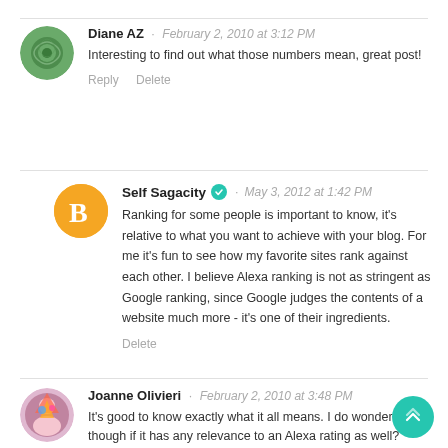Diane AZ · February 2, 2010 at 3:12 PM
Interesting to find out what those numbers mean, great post!
Reply Delete
Self Sagacity ✓ · May 3, 2012 at 1:42 PM
Ranking for some people is important to know, it's relative to what you want to achieve with your blog. For me it's fun to see how my favorite sites rank against each other. I believe Alexa ranking is not as stringent as Google ranking, since Google judges the contents of a website much more - it's one of their ingredients.
Delete
Joanne Olivieri · February 2, 2010 at 3:48 PM
It's good to know exactly what it all means. I do wonder though if it has any relevance to an Alexa rating as well?